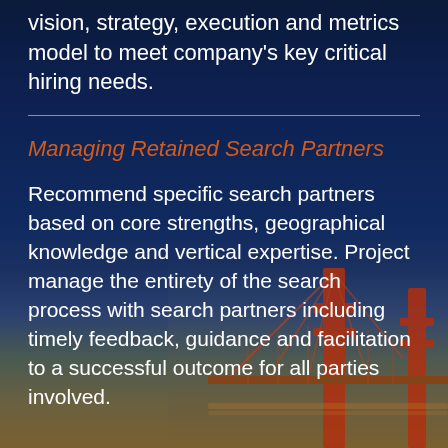vision, strategy, execution and metrics model to meet company's key critical hiring needs.
Managing Retained Search Partners
Recommend specific search partners based on core strengths, geographical knowledge and vertical expertise. Project manage the entirety of the search process with search partners including timely feedback, guidance and facilitation to a successful outcome for all parties involved.